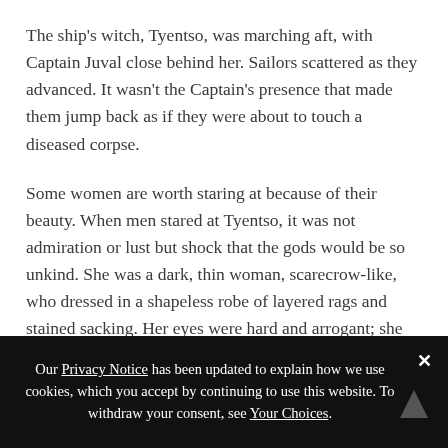The ship's witch, Tyentso, was marching aft, with Captain Juval close behind her. Sailors scattered as they advanced. It wasn't the Captain's presence that made them jump back as if they were about to touch a diseased corpse.
Some women are worth staring at because of their beauty. When men stared at Tyentso, it was not admiration or lust but shock that the gods would be so unkind. She was a dark, thin woman, scarecrow-like, who dressed in a shapeless robe of layered rags and stained sacking. Her eyes were hard and arrogant; she held herself with the straight-backed poise of an aristocrat—one who could order the death of anyone
Our Privacy Notice has been updated to explain how we use cookies, which you accept by continuing to use this website. To withdraw your consent, see Your Choices.